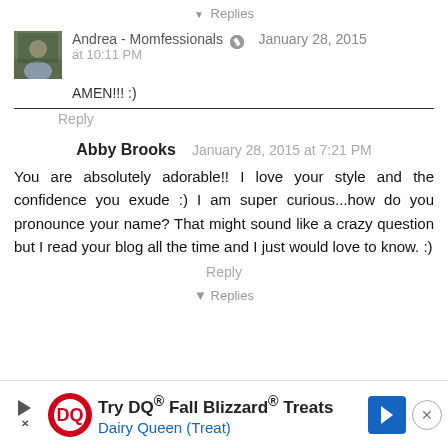▾ Replies
Andrea - Momfessionals [icon] January 28, 2015 at 10:11 PM
AMEN!!! :)
Reply
Abby Brooks  January 28, 2015 at 7:21 PM
You are absolutely adorable!! I love your style and the confidence you exude :) I am super curious...how do you pronounce your name? That might sound like a crazy question but I read your blog all the time and I just would love to know. :)
Reply
▾ Replies
Try DQ® Fall Blizzard® Treats  Dairy Queen (Treat)